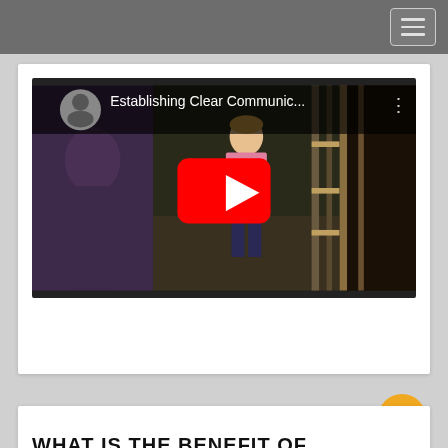Navigation menu
[Figure (screenshot): YouTube video embed thumbnail showing a woman in a pink shirt standing near a livestock pen. Video title: 'Establishing Clear Communic...' with a YouTube play button overlay and channel icon.]
WHAT IS THE BENEFIT OF